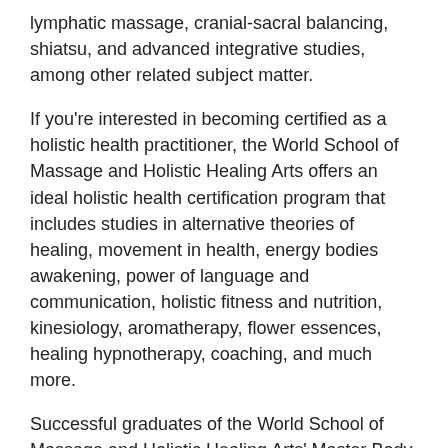lymphatic massage, cranial-sacral balancing, shiatsu, and advanced integrative studies, among other related subject matter.
If you're interested in becoming certified as a holistic health practitioner, the World School of Massage and Holistic Healing Arts offers an ideal holistic health certification program that includes studies in alternative theories of healing, movement in health, energy bodies awakening, power of language and communication, holistic fitness and nutrition, kinesiology, aromatherapy, flower essences, healing hypnotherapy, coaching, and much more.
Successful graduates of the World School of Massage and Holistic Healing Arts' Master Body worker program acquire four different state-approved certificates, including Advanced Massage Therapist (AMT), Holistic Health Practitioner (HHP), Holistic Massage Therapist (CMT) and of course, Master Bodywork (MBW). In addition, students who successfully finish both the Holistic Massage Therapy